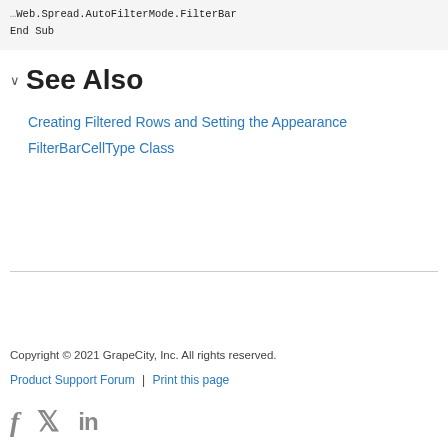Web.Spread.AutoFilterMode.FilterBar
End Sub
See Also
Creating Filtered Rows and Setting the Appearance
FilterBarCellType Class
Copyright © 2021 GrapeCity, Inc. All rights reserved.
Product Support Forum | Print this page